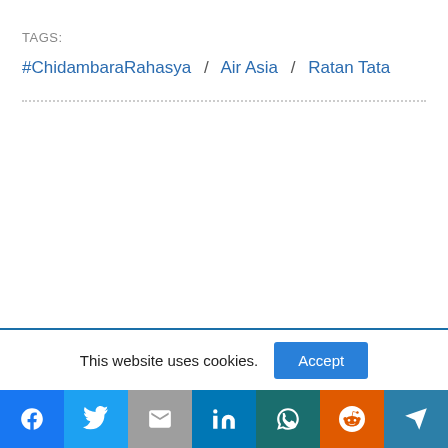TAGS:
#ChidambaraRahasya / Air Asia / Ratan Tata
This website uses cookies.
[Figure (infographic): Social share bar with Facebook, Twitter, Gmail, LinkedIn, WhatsApp, Reddit, Telegram icons]